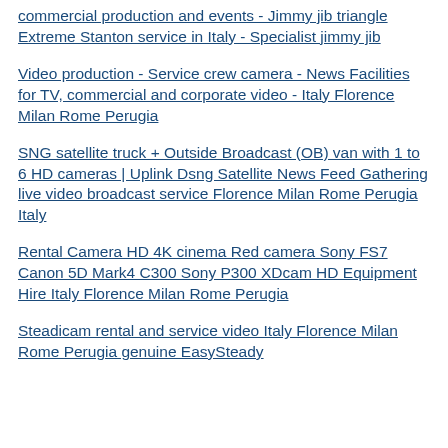commercial production and events - Jimmy jib triangle Extreme Stanton service in Italy - Specialist jimmy jib
Video production - Service crew camera - News Facilities for TV, commercial and corporate video - Italy Florence Milan Rome Perugia
SNG satellite truck + Outside Broadcast (OB) van with 1 to 6 HD cameras | Uplink Dsng Satellite News Feed Gathering live video broadcast service Florence Milan Rome Perugia Italy
Rental Camera HD 4K cinema Red camera Sony FS7 Canon 5D Mark4 C300 Sony P300 XDcam HD Equipment Hire Italy Florence Milan Rome Perugia
Steadicam rental and service video Italy Florence Milan Rome Perugia genuine EasySteady